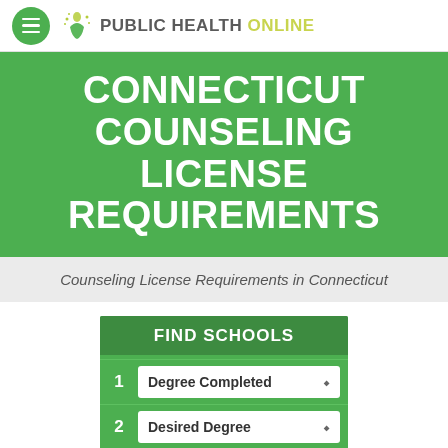PUBLIC HEALTH ONLINE
CONNECTICUT COUNSELING LICENSE REQUIREMENTS
Counseling License Requirements in Connecticut
FIND SCHOOLS
1 Degree Completed
2 Desired Degree
3 Counseling Psychology